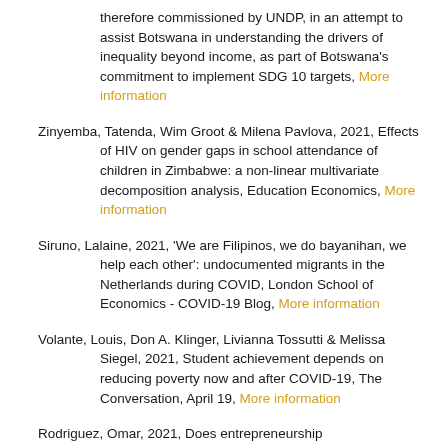therefore commissioned by UNDP, in an attempt to assist Botswana in understanding the drivers of inequality beyond income, as part of Botswana's commitment to implement SDG 10 targets, More information
Zinyemba, Tatenda, Wim Groot & Milena Pavlova, 2021, Effects of HIV on gender gaps in school attendance of children in Zimbabwe: a non-linear multivariate decomposition analysis, Education Economics, More information
Siruno, Lalaine, 2021, 'We are Filipinos, we do bayanihan, we help each other': undocumented migrants in the Netherlands during COVID, London School of Economics - COVID-19 Blog, More information
Volante, Louis, Don A. Klinger, Livianna Tossutti & Melissa Siegel, 2021, Student achievement depends on reducing poverty now and after COVID-19, The Conversation, April 19, More information
Rodriguez, Omar, 2021, Does entrepreneurship